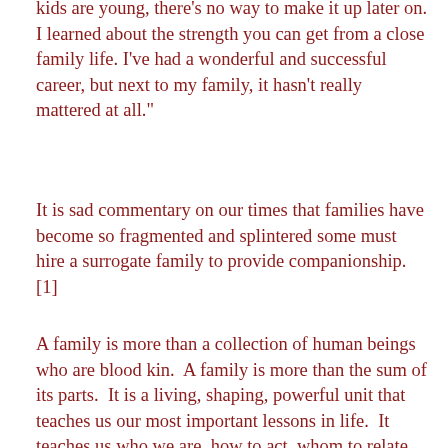kids are young, there's no way to make it up later on. I learned about the strength you can get from a close family life. I've had a wonderful and successful career, but next to my family, it hasn't really mattered at all."
It is sad commentary on our times that families have become so fragmented and splintered some must hire a surrogate family to provide companionship. [1]
A family is more than a collection of human beings who are blood kin.  A family is more than the sum of its parts.  It is a living, shaping, powerful unit that teaches us our most important lessons in life.  It teaches us who we are, how to act, whom to relate to, and what is important in life.
A popular book of a few years ago, Jonathan Livingston Seagull, extolled the “virtues” of independence and individuality at any price.  The seagull is a popular subject